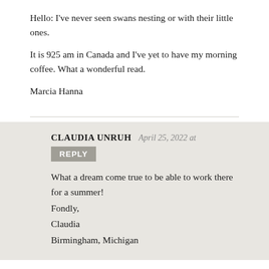Hello: I've never seen swans nesting or with their little ones.

It is 925 am in Canada and I've yet to have my morning coffee. What a wonderful read.

Marcia Hanna
CLAUDIA UNRUH April 25, 2022 at [REPLY]
What a dream come true to be able to work there for a summer!
Fondly,
CLaudia
Birmingham, Michigan